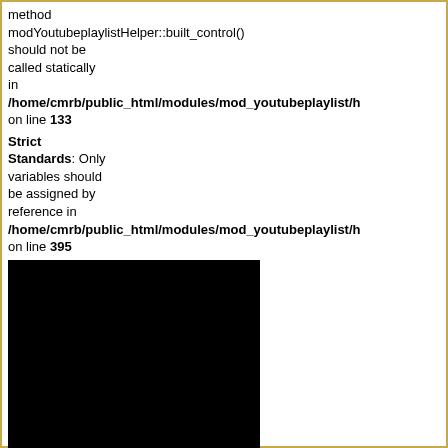method modYoutubeplaylistHelper::built_control() should not be called statically in /home/cmrb/public_html/modules/mod_youtubeplaylist/h on line 133
Strict Standards: Only variables should be assigned by reference in /home/cmrb/public_html/modules/mod_youtubeplaylist/h on line 395
[Figure (other): Black rectangle representing an embedded video player area]
Playlist: 0 | 1